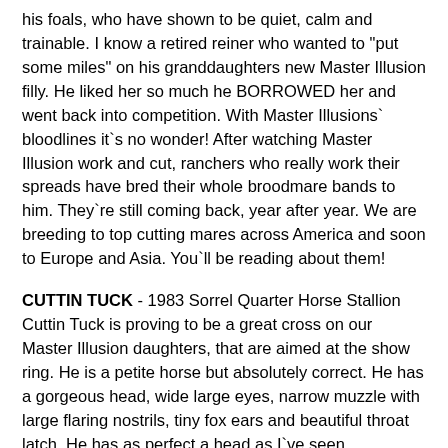his foals, who have shown to be quiet, calm and trainable. I know a retired reiner who wanted to "put some miles" on his granddaughters new Master Illusion filly. He liked her so much he BORROWED her and went back into competition. With Master Illusions` bloodlines it`s no wonder! After watching Master Illusion work and cut, ranchers who really work their spreads have bred their whole broodmare bands to him. They`re still coming back, year after year. We are breeding to top cutting mares across America and soon to Europe and Asia. You`ll be reading about them!
CUTTIN TUCK - 1983 Sorrel Quarter Horse Stallion Cuttin Tuck is proving to be a great cross on our Master Illusion daughters, that are aimed at the show ring. He is a petite horse but absolutely correct. He has a gorgeous head, wide large eyes, narrow muzzle with large flaring nostrils, tiny fox ears and beautiful throat latch. He has as perfect a head as I`ve seen.